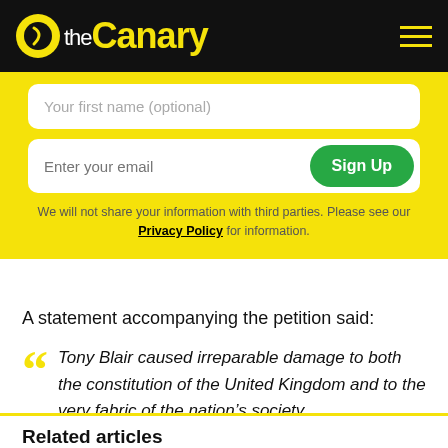theCanary
Your first name (optional)
Enter your email | Sign Up
We will not share your information with third parties. Please see our Privacy Policy for information.
A statement accompanying the petition said:
Tony Blair caused irreparable damage to both the constitution of the United Kingdom and to the very fabric of the nation’s society.
Related articles